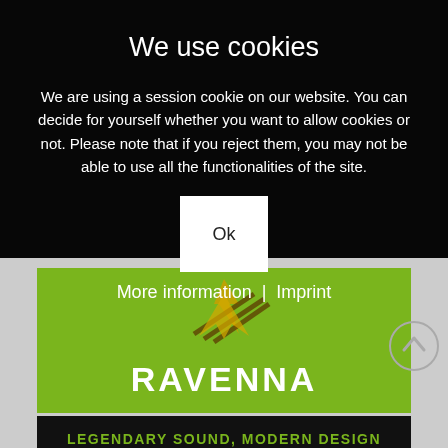We use cookies
We are using a session cookie on our website. You can decide for yourself whether you want to allow cookies or not. Please note that if you reject them, you may not be able to use all the functionalities of the site.
Ok
More information  |  Imprint
[Figure (screenshot): Website background showing Ravenna product page with green banner, logo icon, RAVENNA text in white, scroll-up circle button, and black bar with 'LEGENDARY SOUND, MODERN DESIGN' tagline in green text.]